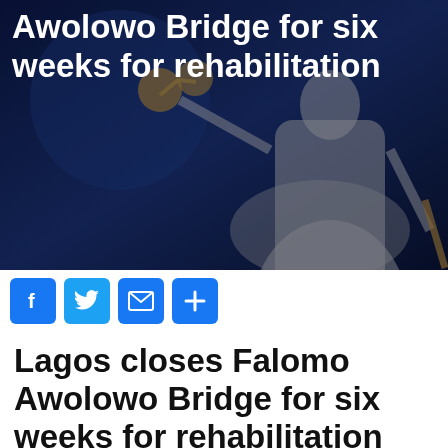[Figure (photo): Dark blue background with a statue of Lady Justice holding scales and a sword, partially visible on the right side. White bold text overlay reads 'Awolowo Bridge for six weeks for rehabilitation']
Awolowo Bridge for six weeks for rehabilitation
[Figure (infographic): Social media sharing buttons: Facebook (blue F icon), Twitter (blue bird icon), Email (blue envelope icon), Share (blue plus icon)]
Lagos closes Falomo Awolowo Bridge for six weeks for rehabilitation